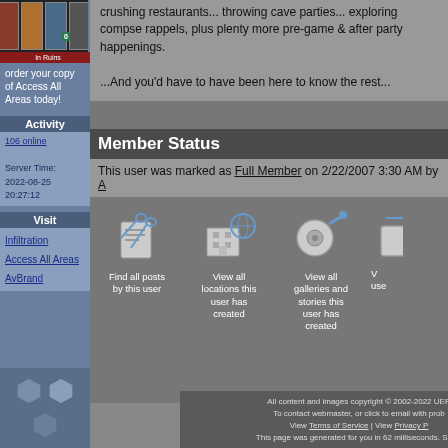[Figure (illustration): Book cover thumbnail for 'Access All Areas' with dark background and small colored book spines, with green badge overlay]
order your copy of Access All Areas today!
Activity
106 online

Server Time:
2022-08-25
20:27:12
Visit
Infiltration
Access All Areas
AvBrand
crushing restaurants... throwing cave parties... exploring compse rappels, plus plenty more pre-game & after party happenings.

...And you'd have to have been here to know the rest...
Member Status
This user was marked as Full Member on 2/22/2007 3:30 AM by A
[Figure (illustration): Icon: Find all posts by this user - scissors/document icon]
[Figure (illustration): Icon: View all locations this user has created - building/globe icon]
[Figure (illustration): Icon: View all galleries and stories this user has created - disc/magnifier icon]
[Figure (illustration): Partial icon: V - partially visible icon on right edge]
All content and images copyright © 2002-2022 UER
To contact webmaster, or click to email with prob
View Terms of Service | View Privacy P
This page was generated for you in 62 milliseconds. Since